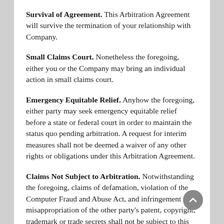Survival of Agreement. This Arbitration Agreement will survive the termination of your relationship with Company.
Small Claims Court. Nonetheless the foregoing, either you or the Company may bring an individual action in small claims court.
Emergency Equitable Relief. Anyhow the foregoing, either party may seek emergency equitable relief before a state or federal court in order to maintain the status quo pending arbitration. A request for interim measures shall not be deemed a waiver of any other rights or obligations under this Arbitration Agreement.
Claims Not Subject to Arbitration. Notwithstanding the foregoing, claims of defamation, violation of the Computer Fraud and Abuse Act, and infringement or misappropriation of the other party's patent, copyright, trademark or trade secrets shall not be subject to this